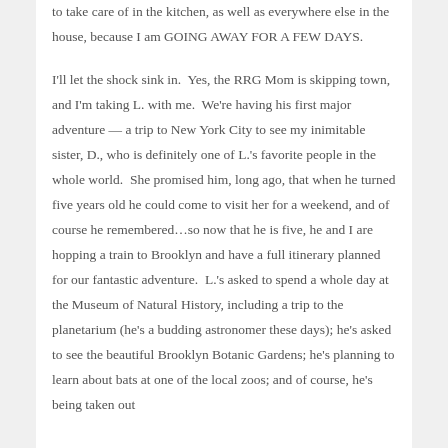to take care of in the kitchen, as well as everywhere else in the house, because I am GOING AWAY FOR A FEW DAYS.
I'll let the shock sink in.  Yes, the RRG Mom is skipping town, and I'm taking L. with me.  We're having his first major adventure — a trip to New York City to see my inimitable sister, D., who is definitely one of L.'s favorite people in the whole world.  She promised him, long ago, that when he turned five years old he could come to visit her for a weekend, and of course he remembered…so now that he is five, he and I are hopping a train to Brooklyn and have a full itinerary planned for our fantastic adventure.  L.'s asked to spend a whole day at the Museum of Natural History, including a trip to the planetarium (he's a budding astronomer these days); he's asked to see the beautiful Brooklyn Botanic Gardens; he's planning to learn about bats at one of the local zoos; and of course, he's being taken out